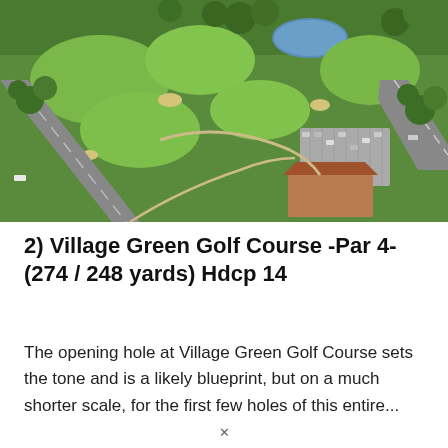[Figure (photo): Aerial drone photograph of Village Green Golf Course showing the green fairways, a parking lot, clubhouse building with reddish-brown roof, roads flanking the course, and surrounding trees and a pond in the background.]
2) Village Green Golf Course -Par 4- (274 / 248 yards) Hdcp 14
The opening hole at Village Green Golf Course sets the tone and is a likely blueprint, but on a much shorter scale, for the first few holes of this entire...